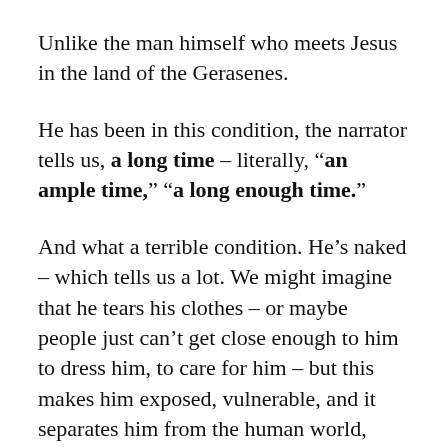Unlike the man himself who meets Jesus in the land of the Gerasenes.
He has been in this condition, the narrator tells us, a long time – literally, "an ample time," "a long enough time."
And what a terrible condition. He's naked – which tells us a lot. We might imagine that he tears his clothes – or maybe people just can't get close enough to him to dress him, to care for him – but this makes him exposed, vulnerable, and it separates him from the human world, from society. He's been chained, bound, guarded, kept under